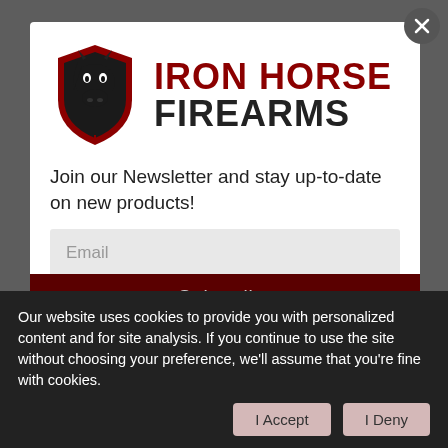[Figure (logo): Iron Horse Firearms logo: stylized horse head in a shield shape (black and dark red), with text IRON HORSE in dark red and FIREARMS in black bold sans-serif]
Join our Newsletter and stay up-to-date on new products!
Email
Subscribe
Our website uses cookies to provide you with personalized content and for site analysis. If you continue to use the site without choosing your preference, we'll assume that you're fine with cookies.
I Accept
I Deny